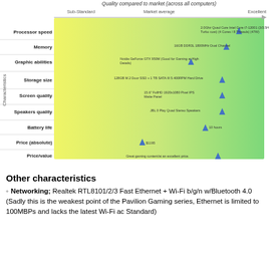[Figure (scatter-plot): Quality compared to market (across all computers)]
Other characteristics
Networking; Realtek RTL8101/2/3 Fast Ethernet + Wi-Fi b/g/n w/Bluetooth 4.0 (Sadly this is the weakest point of the Pavilion Gaming series, Ethernet is limited to 100MBPs and lacks the latest Wi-Fi ac Standard)